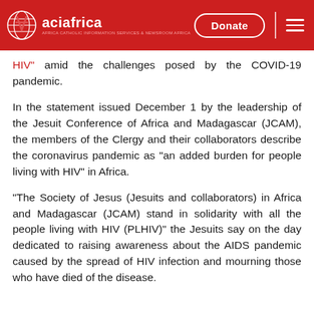aciafrica | Donate
HIV” amid the challenges posed by the COVID-19 pandemic.
In the statement issued December 1 by the leadership of the Jesuit Conference of Africa and Madagascar (JCAM), the members of the Clergy and their collaborators describe the coronavirus pandemic as “an added burden for people living with HIV” in Africa.
“The Society of Jesus (Jesuits and collaborators) in Africa and Madagascar (JCAM) stand in solidarity with all the people living with HIV (PLHIV)” the Jesuits say on the day dedicated to raising awareness about the AIDS pandemic caused by the spread of HIV infection and mourning those who have died of the disease.